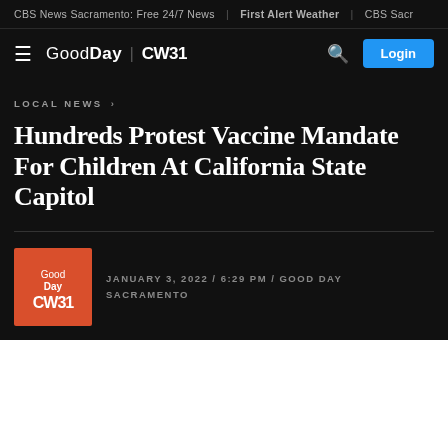CBS News Sacramento: Free 24/7 News | First Alert Weather | CBS Sacr
GoodDay CW31 — Login
LOCAL NEWS ›
Hundreds Protest Vaccine Mandate For Children At California State Capitol
JANUARY 3, 2022 / 6:29 PM / GOOD DAY SACRAMENTO